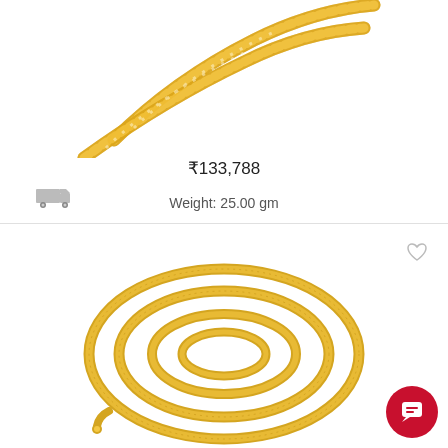[Figure (photo): Close-up photo of two gold braided/chain necklaces laid diagonally on white background]
₹133,788
[Figure (illustration): Grey delivery truck icon]
Weight: 25.00 gm
[Figure (photo): Gold snake chain necklace coiled in a spiral on white background]
[Figure (illustration): Heart (wishlist) icon in grey]